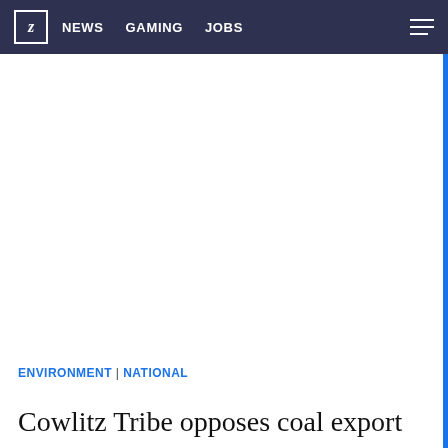Z NEWS GAMING JOBS
ENVIRONMENT | NATIONAL
Cowlitz Tribe opposes coal export